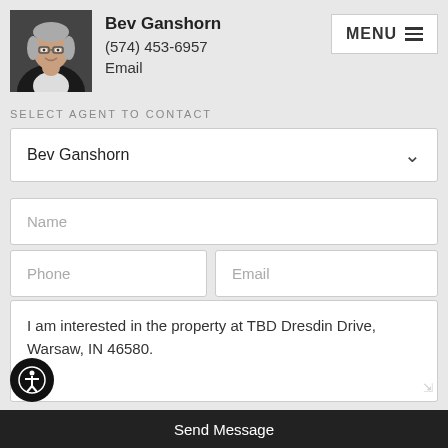[Figure (photo): Headshot of agent Bev Ganshorn, a woman with short gray hair and glasses, wearing a black jacket over a white shirt, smiling]
Bev Ganshorn
(574) 453-6957
Email
MENU ≡
SELECT AGENT TO CONTACT
Bev Ganshorn
Name
Phone
Email
I am interested in the property at TBD Dresdin Drive, Warsaw, IN 46580.
Send Message